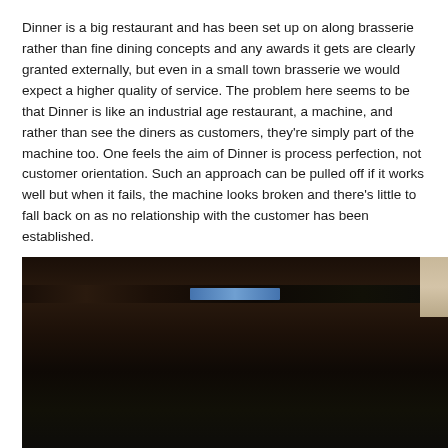Dinner is a big restaurant and has been set up on along brasserie rather than fine dining concepts and any awards it gets are clearly granted externally, but even in a small town brasserie we would expect a higher quality of service. The problem here seems to be that Dinner is like an industrial age restaurant, a machine, and rather than see the diners as customers, they're simply part of the machine too. One feels the aim of Dinner is process perfection, not customer orientation. Such an approach can be pulled off if it works well but when it fails, the machine looks broken and there's little to fall back on as no relationship with the customer has been established.
[Figure (photo): Dark interior photograph of what appears to be a restaurant, showing a dimly lit room with dark wood tones. A bright blue-lit horizontal rectangle (likely a screen or illuminated sign) is visible in the upper-center area. A lighter colored strip is visible on the right edge.]